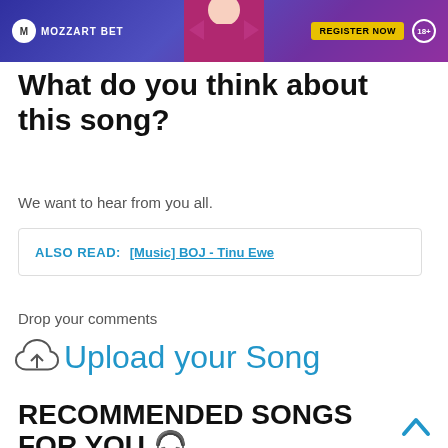[Figure (photo): Mozzart Bet advertisement banner with a person in pink/magenta clothing against a purple background, with a yellow 'Register Now' button and 18+ badge]
What do you think about this song?
We want to hear from you all.
ALSO READ:  [Music] BOJ - Tinu Ewe
Drop your comments
Upload your Song
RECOMMENDED SONGS FOR YOU 🎧